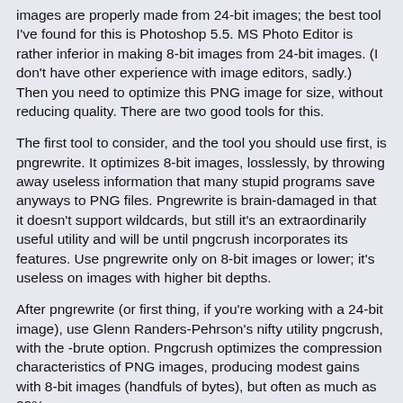images are properly made from 24-bit images; the best tool I've found for this is Photoshop 5.5. MS Photo Editor is rather inferior in making 8-bit images from 24-bit images. (I don't have other experience with image editors, sadly.) Then you need to optimize this PNG image for size, without reducing quality. There are two good tools for this.
The first tool to consider, and the tool you should use first, is pngrewrite. It optimizes 8-bit images, losslessly, by throwing away useless information that many stupid programs save anyways to PNG files. Pngrewrite is brain-damaged in that it doesn't support wildcards, but still it's an extraordinarily useful utility and will be until pngcrush incorporates its features. Use pngrewrite only on 8-bit images or lower; it's useless on images with higher bit depths.
After pngrewrite (or first thing, if you're working with a 24-bit image), use Glenn Randers-Pehrson's nifty utility pngcrush, with the -brute option. Pngcrush optimizes the compression characteristics of PNG images, producing modest gains with 8-bit images (handfuls of bytes), but often as much as 20%